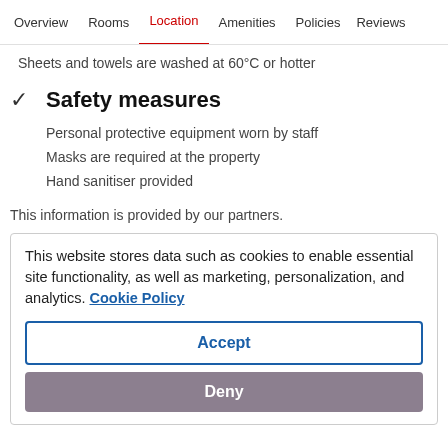Overview  Rooms  Location  Amenities  Policies  Reviews
Sheets and towels are washed at 60°C or hotter
✓  Safety measures
Personal protective equipment worn by staff
Masks are required at the property
Hand sanitiser provided
This information is provided by our partners.
This website stores data such as cookies to enable essential site functionality, as well as marketing, personalization, and analytics. Cookie Policy
Accept
Deny